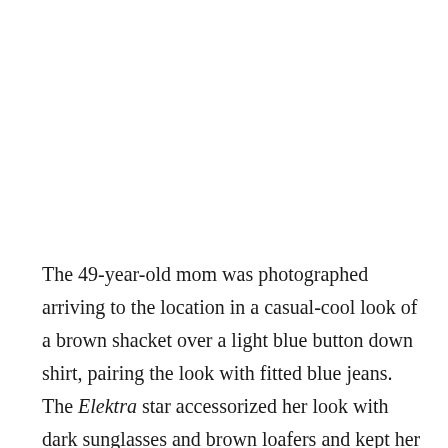The 49-year-old mom was photographed arriving to the location in a casual-cool look of a brown shacket over a light blue button down shirt, pairing the look with fitted blue jeans. The Elektra star accessorized her look with dark sunglasses and brown loafers and kept her signature chestnut brown hair straight.